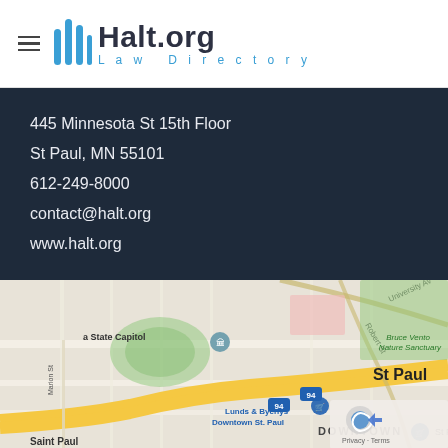Halt.org Law Directory
445 Minnesota St 15th Floor
St Paul, MN 55101
612-249-8000
contact@halt.org
www.halt.org
[Figure (map): Google Maps screenshot showing downtown St Paul, MN area with markers for Minnesota State Capitol, Lunds & Byerlys Downtown St. Paul, Bruce Vento Nature Sanctuary, and DOWNTOWN label. Interstate 94 visible. Marion St and other streets labeled.]